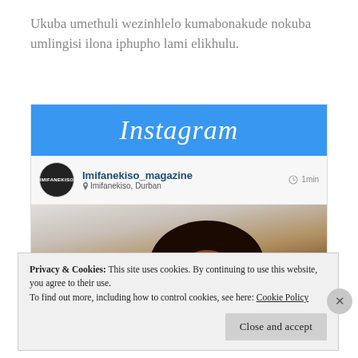Ukuba umethuli wezinhlelo kumabonakude nokuba umlingisi ilona iphupho lami elikhulu.
[Figure (screenshot): Screenshot of an Instagram post by Imifanekiso_magazine from Imifanekiso, Durban, showing a young Black girl looking upward, with the Instagram logo visible at the top of the interface.]
Privacy & Cookies: This site uses cookies. By continuing to use this website, you agree to their use.
To find out more, including how to control cookies, see here: Cookie Policy
Close and accept